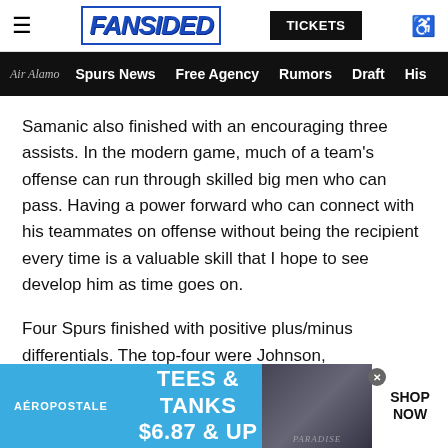FANSIDED | TICKETS
Air Alamo  Spurs News  Free Agency  Rumors  Draft  His
Samanic also finished with an encouraging three assists. In the modern game, much of a team's offense can run through skilled big men who can pass. Having a power forward who can connect with his teammates on offense without being the recipient every time is a valuable skill that I hope to see develop him as time goes on.
Four Spurs finished with positive plus/minus differentials. The top-four were Johnson, Weatherspoon, Samanic and two-way center Drew Eubanks. In the garbage time, the young players put on a show and outscored their opponents to close the Spurs' gap. This is especially telling of Johnson, who logged minutes throughout the game and even played prior to garbage time.
[Figure (other): Aéropostale advertisement banner: TEES & TANKS $6.87 & UP with SHOP NOW button]